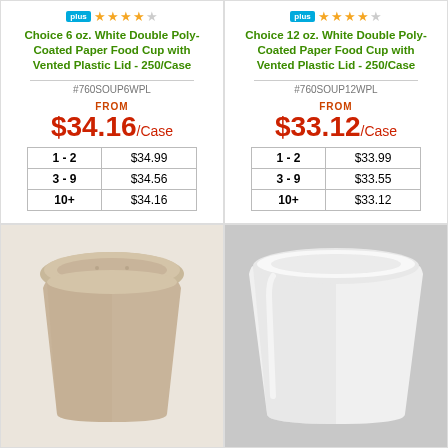Choice 6 oz. White Double Poly-Coated Paper Food Cup with Vented Plastic Lid - 250/Case
#760SOUP6WPL
FROM $34.16/Case
| Qty | Price |
| --- | --- |
| 1 - 2 | $34.99 |
| 3 - 9 | $34.56 |
| 10+ | $34.16 |
Notify me when this product is back in stock:
Email Address  Send
Choice 12 oz. White Double Poly-Coated Paper Food Cup with Vented Plastic Lid - 250/Case
#760SOUP12WPL
FROM $33.12/Case
| Qty | Price |
| --- | --- |
| 1 - 2 | $33.99 |
| 3 - 9 | $33.55 |
| 10+ | $33.12 |
1  Add to Cart
[Figure (photo): Kraft/natural brown paper food cup with vented lid]
[Figure (photo): White paper food cup without lid, shown on gray background]